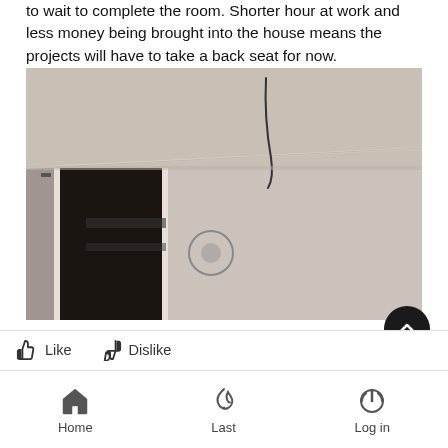to wait to complete the room. Shorter hour at work and less money being brought into the house means the projects will have to take a back seat for now.
[Figure (photo): Interior room photo showing an empty room with light beige/gray walls and ceiling. There is a wire or hook hanging from the ceiling. An open doorway on the left side reveals a dark adjacent space with what appears to be shelving or storage. The room appears unfinished.]
Like   Dislike
Home   Last   Log in